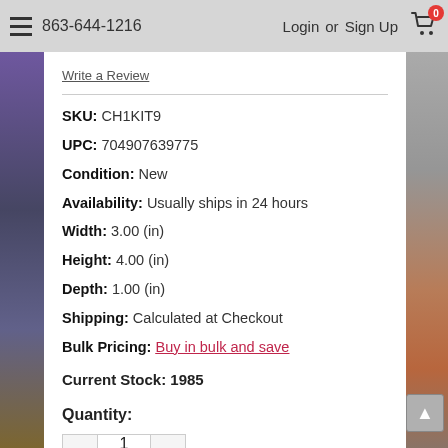863-644-1216  Login or Sign Up  0
Write a Review
SKU: CH1KIT9
UPC: 704907639775
Condition: New
Availability: Usually ships in 24 hours
Width: 3.00 (in)
Height: 4.00 (in)
Depth: 1.00 (in)
Shipping: Calculated at Checkout
Bulk Pricing: Buy in bulk and save
Current Stock: 1985
Quantity:
1